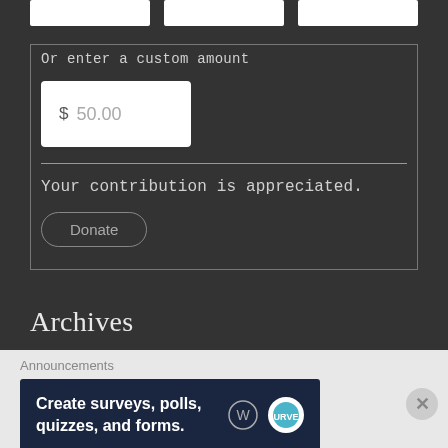Or enter a custom amount
$ 50.00
Your contribution is appreciated.
Donate
Archives
Announcements
[Figure (screenshot): Advertisement banner: Create surveys, polls, quizzes, and forms. With WordPress and Survey Owl logos.]